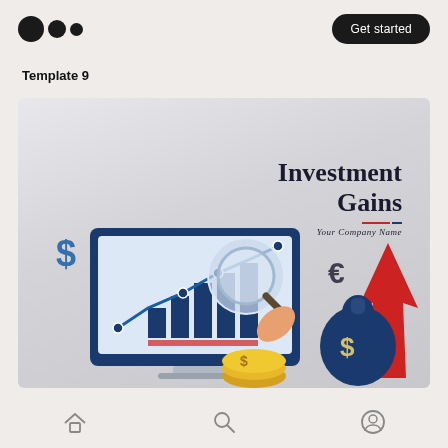[Figure (logo): Medium publication logo — three filled circles of decreasing size arranged horizontally]
Get started
Template 9
[Figure (illustration): Investment Gains presentation template preview card showing a monitor with a line/bar chart being examined with a magnifying glass, a money bag with dollar sign, gold coins with dollar sign, euro symbol, red upward arrow, and dollar sign symbol on a grey gradient background. Text reads 'Investment Gains' and 'Your Company Name'.]
[Figure (other): Bottom navigation bar with home icon, search/magnifying glass icon, and user/profile icon]